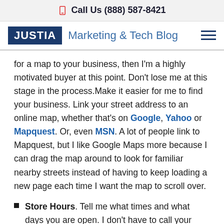Call Us (888) 587-8421
JUSTIA Marketing & Tech Blog
for a map to your business, then I’m a highly motivated buyer at this point. Don’t lose me at this stage in the process.Make it easier for me to find your business. Link your street address to an online map, whether that’s on Google, Yahoo or Mapquest. Or, even MSN. A lot of people link to Mapquest, but I like Google Maps more because I can drag the map around to look for familiar nearby streets instead of having to keep loading a new page each time I want the map to scroll over.
Store Hours. Tell me what times and what days you are open. I don’t have to call your phone number and either have to be put on hold or have to decipher your voice mail system. You can